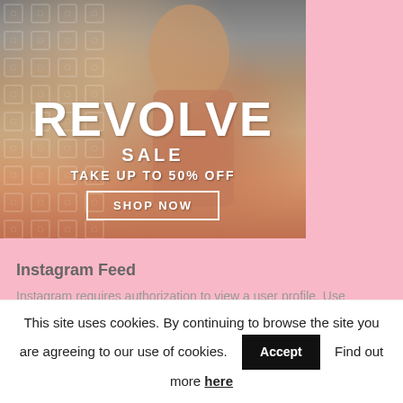[Figure (photo): Fashion advertisement banner for REVOLVE showing a woman in sunglasses and a coral/orange swimsuit top with text 'REVOLVE SALE TAKE UP TO 50% OFF' and a 'SHOP NOW' button. Pink background to the right.]
Instagram Feed
Instagram requires authorization to view a user profile. Use
This site uses cookies. By continuing to browse the site you are agreeing to our use of cookies. Accept Find out more here